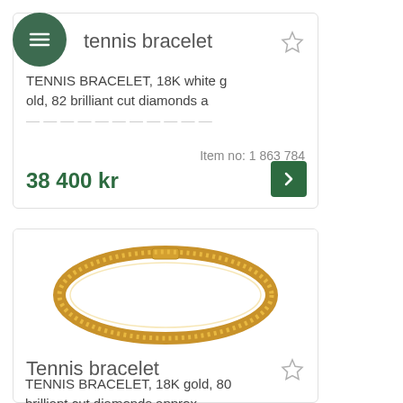tennis bracelet
TENNIS BRACELET, 18K white gold, 82 brilliant cut diamonds a…
Item no: 1 863 784
38 400 kr
[Figure (photo): Gold tennis bracelet with closely set brilliant cut diamonds in an oval/elliptical shape on white background]
Tennis bracelet
TENNIS BRACELET, 18K gold, 80 brilliant cut diamonds approx.